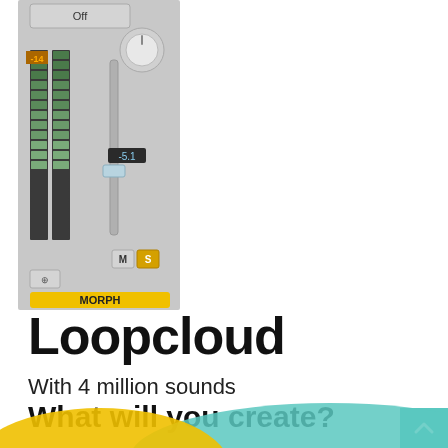[Figure (screenshot): Audio mixer channel strip UI showing a fader at -5.1 dB, level meter showing -14, a mute (M) and solo (S) button, a link button, and a yellow label reading MORPH. There is also a knob and an 'Off' button at the top.]
Loopcloud
With 4 million sounds
What will you create?